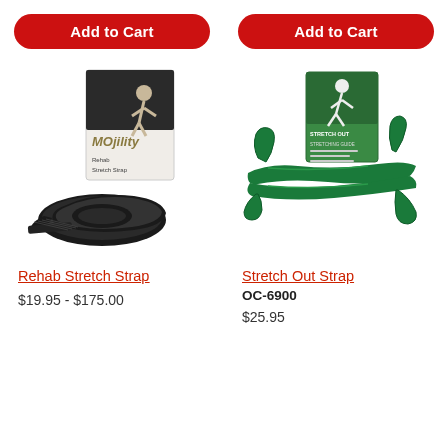[Figure (other): Red 'Add to Cart' button for left product]
[Figure (other): Red 'Add to Cart' button for right product]
[Figure (photo): Black rehab stretch strap coiled, with MOjility branded packaging card showing a person stretching]
[Figure (photo): Green stretch out strap with multiple loops, with green packaging card showing a person stretching]
Rehab Stretch Strap
Stretch Out Strap
$19.95 - $175.00
OC-6900
$25.95